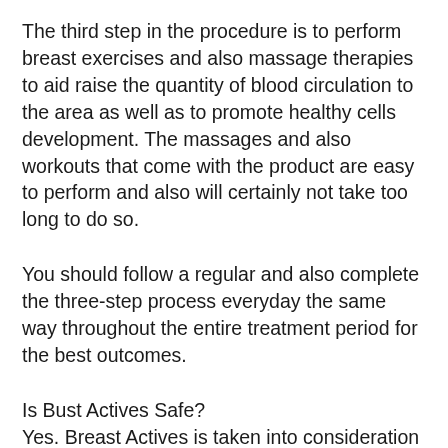The third step in the procedure is to perform breast exercises and also massage therapies to aid raise the quantity of blood circulation to the area as well as to promote healthy cells development. The massages and also workouts that come with the product are easy to perform and also will certainly not take too long to do so.
You should follow a regular and also complete the three-step process everyday the same way throughout the entire treatment period for the best outcomes.
Is Bust Actives Safe?
Yes. Breast Actives is taken into consideration secure to utilize in the supplement and lotion type. Actually, there